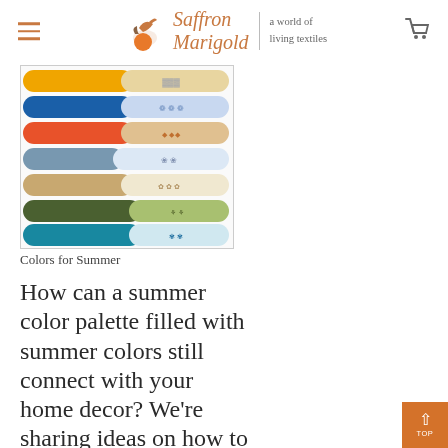Saffron Marigold — a world of living textiles
[Figure (illustration): Color palette swatches for summer: horizontal bands of solid colors (yellow/orange, blue, orange/red, slate blue/gray, tan/beige, olive green, teal) paired with decorative fabric pattern swatches on the right side.]
Colors for Summer
How can a summer color palette filled with summer colors still connect with your home decor? We're sharing ideas on how to use the season's hottest summer colors in this